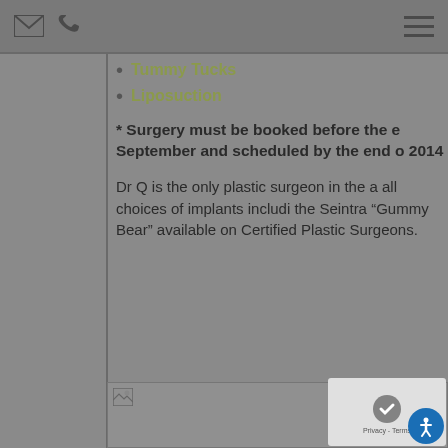[mail icon] [phone icon] [menu icon]
Tummy Tucks
Liposuction
* Surgery must be booked before the e September and scheduled by the end o 2014
Dr Q is the only plastic surgeon in the a all choices of implants includi the Seintra “Gummy Bear” available on Certified Plastic Surgeons.
[Figure (photo): Image placeholder with small image icon in top-left corner]